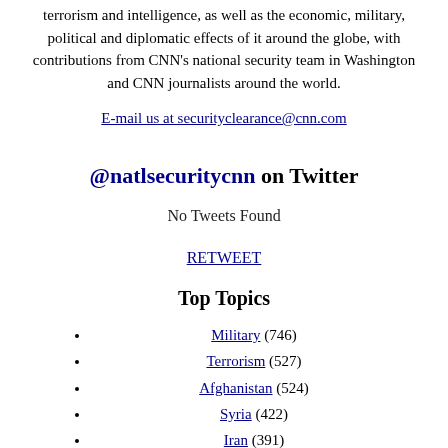terrorism and intelligence, as well as the economic, military, political and diplomatic effects of it around the globe, with contributions from CNN's national security team in Washington and CNN journalists around the world.
E-mail us at securityclearance@cnn.com
@natlsecuritycnn on Twitter
No Tweets Found
RETWEET
Top Topics
Military (746)
Terrorism (527)
Afghanistan (524)
Syria (422)
Iran (391)
Archive